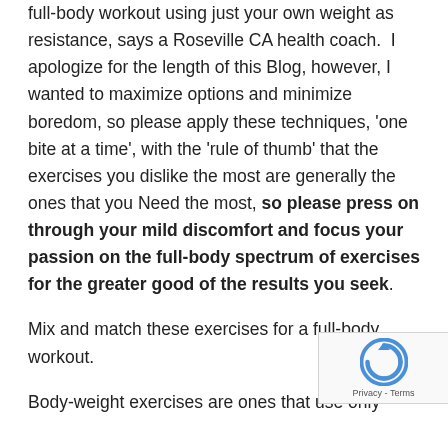full-body workout using just your own weight as resistance, says a Roseville CA health coach.  I apologize for the length of this Blog, however, I wanted to maximize options and minimize boredom, so please apply these techniques, 'one bite at a time', with the 'rule of thumb' that the exercises you dislike the most are generally the ones that you Need the most, so please press on through your mild discomfort and focus your passion on the full-body spectrum of exercises for the greater good of the results you seek.
Mix and match these exercises for a full-body workout.
Body-weight exercises are ones that use only